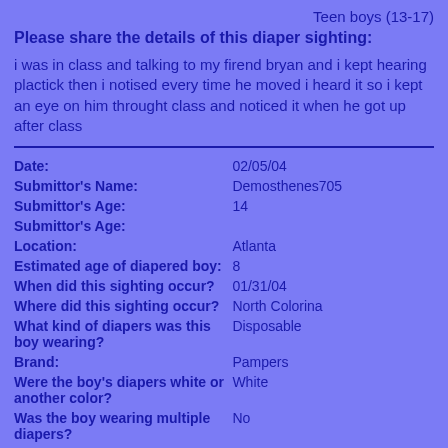Teen boys (13-17)
Please share the details of this diaper sighting:
i was in class and talking to my firend bryan and i kept hearing plactick then i notised every time he moved i heard it so i kept an eye on him throught class and noticed it when he got up after class
| Field | Value |
| --- | --- |
| Date: | 02/05/04 |
| Submittor's Name: | Demosthenes705 |
| Submittor's Age: | 14 |
| Submittor's Age: |  |
| Location: | Atlanta |
| Estimated age of diapered boy: | 8 |
| When did this sighting occur? | 01/31/04 |
| Where did this sighting occur? | North Colorina |
| What kind of diapers was this boy wearing? | Disposable |
| Brand: | Pampers |
| Were the boy's diapers white or another color? | White |
| Was the boy wearing multiple diapers? | No |